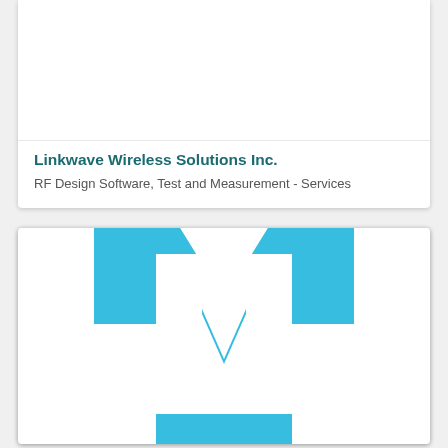[Figure (logo): Empty white card area at top (logo area for Linkwave Wireless Solutions Inc.)]
Linkwave Wireless Solutions Inc.
RF Design Software, Test and Measurement - Services
[Figure (logo): Blue stylized TM or T-with-M logo mark on white background card]